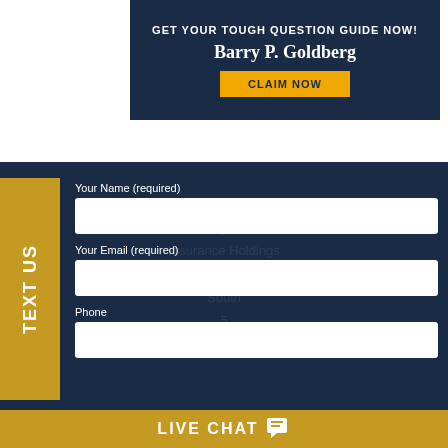GET YOUR TOUGH QUESTION GUIDE NOW!
Barry P. Goldberg
CLAIM NOW
TEXT US
Your Name (required)
Your Email (required)
Phone
LIVE CHAT